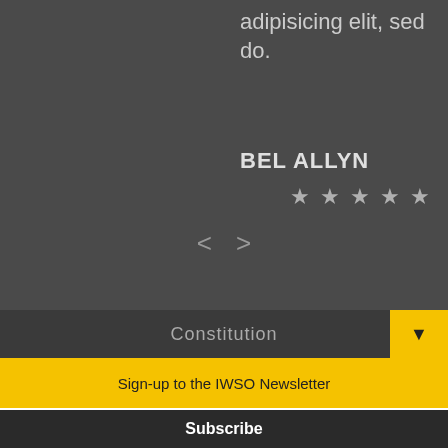adipisicing elit, sed do.
BEL ALLYN
★★★★★
[Figure (other): Navigation arrows left and right]
Constitution
Sign-up to the IWSO Newsletter
Your email address..
Subscribe